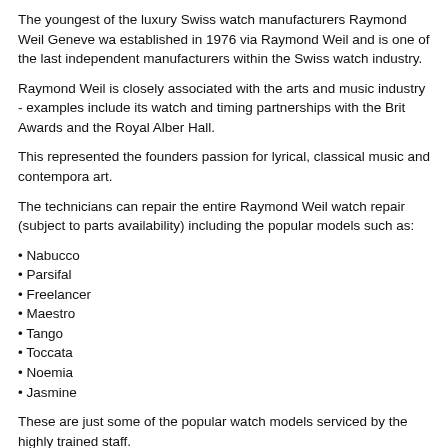The youngest of the luxury Swiss watch manufacturers Raymond Weil Geneve was established in 1976 via Raymond Weil and is one of the last independent manufacturers within the Swiss watch industry.
Raymond Weil is closely associated with the arts and music industry - examples include its watch and timing partnerships with the Brit Awards and the Royal Albert Hall.
This represented the founders passion for lyrical, classical music and contemporary art.
The technicians can repair the entire Raymond Weil watch repair (subject to parts availability) including the popular models such as:
Nabucco
Parsifal
Freelancer
Maestro
Tango
Toccata
Noemia
Jasmine
These are just some of the popular watch models serviced by the highly trained staff.
A range of Raymond watch repair services for North Finchley are offered at the purpose built watch workshop including:
Raymond Weil service
battery replacement
Glass replacement